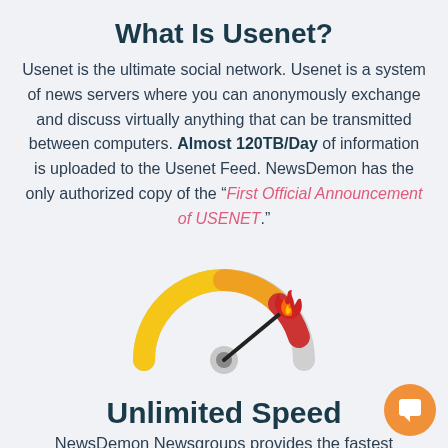What Is Usenet?
Usenet is the ultimate social network. Usenet is a system of news servers where you can anonymously exchange and discuss virtually anything that can be transmitted between computers. Almost 120TB/Day of information is uploaded to the Usenet Feed. NewsDemon has the only authorized copy of the “First Official Announcement of USENET.”
[Figure (illustration): A speedometer gauge illustration with yellow-orange gradient arc sweeping from left to right, needle pointing upper-right, with a red flame icon at the end of the needle, and a grey center hub.]
Unlimited Speed
NewsDemon Newsgroups provides the fastest